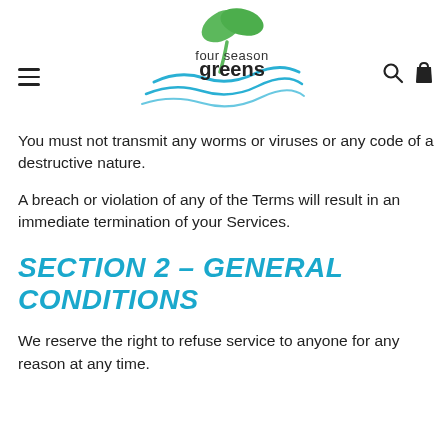[Figure (logo): Four Season Greens logo with green sprout and blue wave, with hamburger menu icon on left and search/bag icons on right]
You must not transmit any worms or viruses or any code of a destructive nature.
A breach or violation of any of the Terms will result in an immediate termination of your Services.
SECTION 2 – GENERAL CONDITIONS
We reserve the right to refuse service to anyone for any reason at any time.